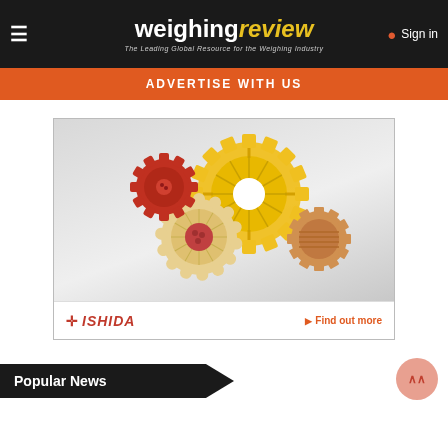weighingreview — The Leading Global Resource for the Weighing Industry | Sign in
ADVERTISE WITH US
[Figure (photo): Ishida advertisement showing gear-shaped cookies/biscuits arranged together against a grey gradient background, with Ishida logo and 'Find out more' link at the bottom]
Popular News